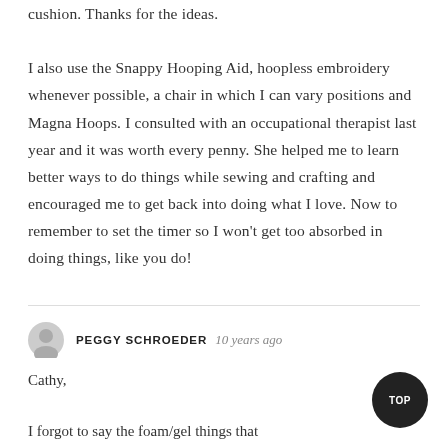cushion. Thanks for the ideas. I also use the Snappy Hooping Aid, hoopless embroidery whenever possible, a chair in which I can vary positions and Magna Hoops. I consulted with an occupational therapist last year and it was worth every penny. She helped me to learn better ways to do things while sewing and crafting and encouraged me to get back into doing what I love. Now to remember to set the timer so I won't get too absorbed in doing things, like you do!
PEGGY SCHROEDER  10 years ago
Cathy,
I forgot to say the foam/gel things that